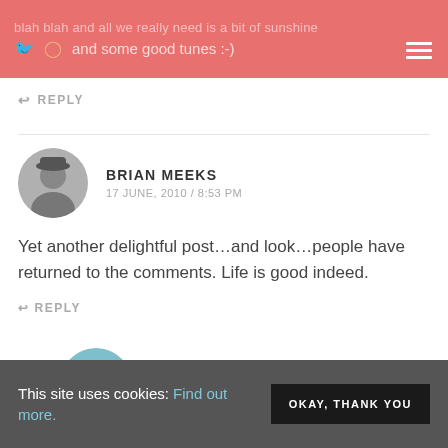blah blah and all we really need is a bit of sunshine and some good tunes :-)
↩ REPLY
BRIAN MEEKS
17 JUNE, 2010 / 8:53 PM
Yet another delightful post…and look…people have returned to the comments. Life is good indeed.
↩ REPLY
JOMIDDLETON
18 JUNE, 2010 / 10:51 AM
This site uses cookies: Find out more.